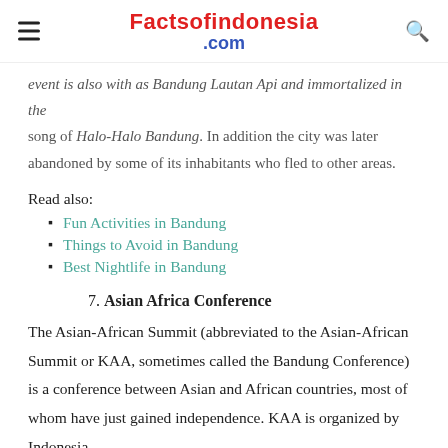Factsofindonesia.com
event is also with as Bandung Lautan Api and immortalized in the song of Halo-Halo Bandung. In addition the city was later abandoned by some of its inhabitants who fled to other areas.
Read also:
Fun Activities in Bandung
Things to Avoid in Bandung
Best Nightlife in Bandung
7. Asian Africa Conference
The Asian-African Summit (abbreviated to the Asian-African Summit or KAA, sometimes called the Bandung Conference) is a conference between Asian and African countries, most of whom have just gained independence. KAA is organized by Indonesia,